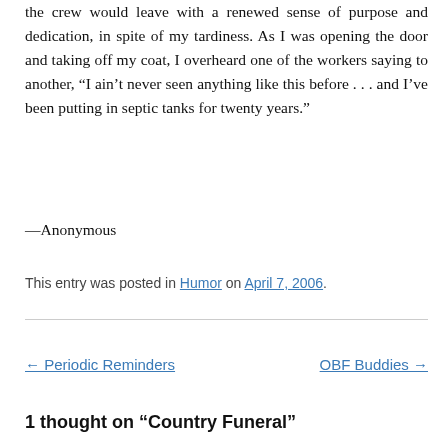the crew would leave with a renewed sense of purpose and dedication, in spite of my tardiness. As I was opening the door and taking off my coat, I overheard one of the workers saying to another, “I ain't never seen anything like this before . . . and I've been putting in septic tanks for twenty years.”
—Anonymous
This entry was posted in Humor on April 7, 2006.
← Periodic Reminders   OBF Buddies →
1 thought on “Country Funeral”